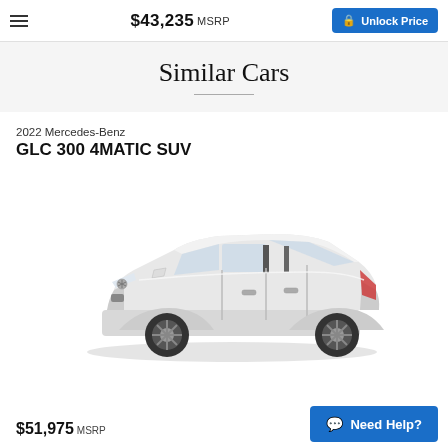$43,235 MSRP | Unlock Price
Similar Cars
2022 Mercedes-Benz
GLC 300 4MATIC SUV
[Figure (photo): Side profile photo of a white 2022 Mercedes-Benz GLC 300 4MATIC SUV on a light gray background]
$51,975 MSRP